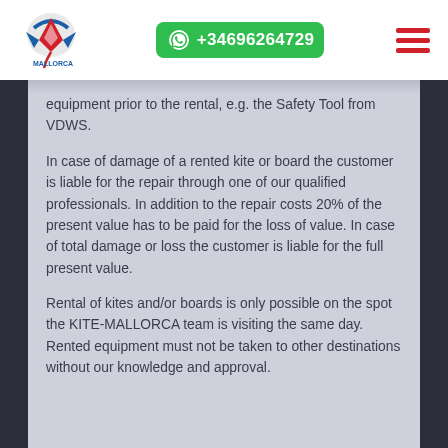Kite Mallorca | +34696264729
equipment prior to the rental, e.g. the Safety Tool from VDWS.
In case of damage of a rented kite or board the customer is liable for the repair through one of our qualified professionals. In addition to the repair costs 20% of the present value has to be paid for the loss of value. In case of total damage or loss the customer is liable for the full present value.
Rental of kites and/or boards is only possible on the spot the KITE-MALLORCA team is visiting the same day. Rented equipment must not be taken to other destinations without our knowledge and approval.